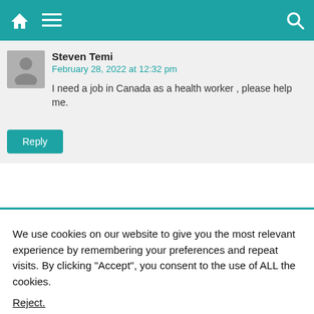Navigation bar with home icon, menu icon, and search icon
Steven Temi
February 28, 2022 at 12:32 pm
I need a job in Canada as a health worker , please help me.
Reply
We use cookies on our website to give you the most relevant experience by remembering your preferences and repeat visits. By clicking “Accept”, you consent to the use of ALL the cookies.
Reject.
Cookie Settings  Accept